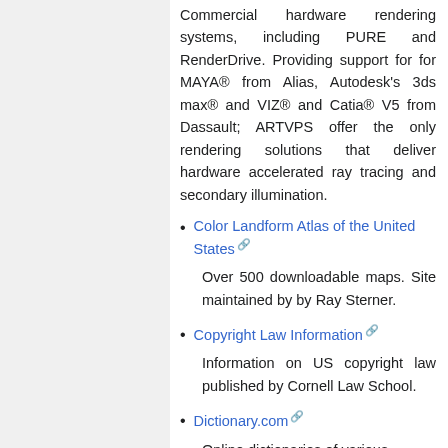Commercial hardware rendering systems, including PURE and RenderDrive. Providing support for for MAYA® from Alias, Autodesk's 3ds max® and VIZ® and Catia® V5 from Dassault; ARTVPS offer the only rendering solutions that deliver hardware accelerated ray tracing and secondary illumination.
Color Landform Atlas of the United States [external link]
Over 500 downloadable maps. Site maintained by by Ray Sterner.
Copyright Law Information [external link]
Information on US copyright law published by Cornell Law School.
Dictionary.com [external link]
Online dictionaries of various